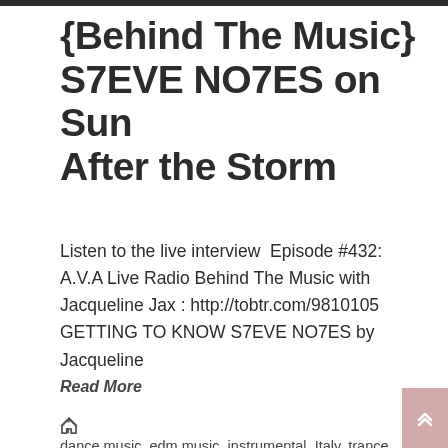{Behind The Music} S7EVE NO7ES on Sun After the Storm
Listen to the live interview  Episode #432: A.V.A Live Radio Behind The Music with Jacqueline Jax : http://tobtr.com/9810105 GETTING TO KNOW S7EVE NO7ES by Jacqueline
Read More
dance music, edm music, instrumental, Italy, trance music